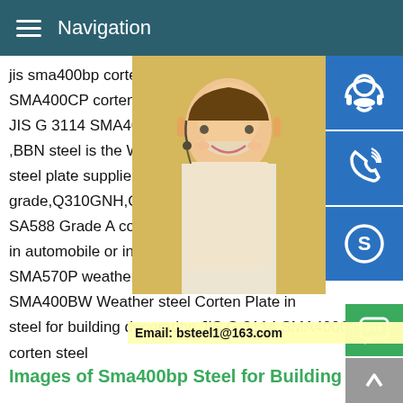Navigation
jis sma400bp corten steel for building deco SMA400CP corten steel for building decor JIS G 3114 SMA400CW corten steel plate ,BBN steel is the Weathering Corrosion Re steel plate supplier in China,we can offer Q grade,Q310GNH,Q460NH,SMA400AW,SM SA588 Grade A corten steel for building de in automobile or in the construction industr SMA570P weather steel corten plate.Imag SMA400BW Weather steel Corten Plate in steel for building decoration JIS G 3114 SMA400CP corten steel for sculpture is mainly used in automobile or in the construction industry.structural JIS G 3114 SMA570P weather steel corten plate.rusty JIS G 3114
[Figure (photo): Woman with headset smiling, customer service representative]
[Figure (illustration): Blue customer service headset icon]
[Figure (illustration): Blue phone/call icon]
[Figure (logo): Blue Skype icon]
MANUAL SE QUOTING O
Email: bsteel1@163.com
Images of Sma400bp Steel for Building D...